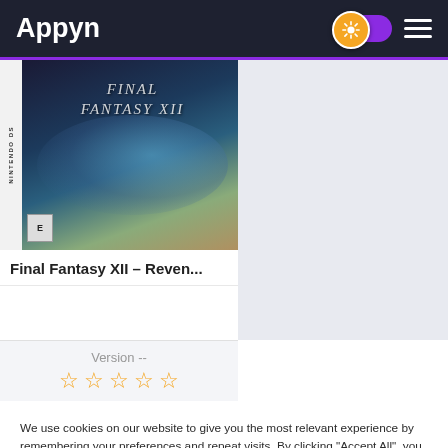Appyn
[Figure (screenshot): Final Fantasy XII game cover art with side label and ESRB rating badge]
Final Fantasy XII – Reven...
Version --
[Figure (other): Five empty star rating icons in gold/orange color]
We use cookies on our website to give you the most relevant experience by remembering your preferences and repeat visits. By clicking “Accept All”, you consent to the use of ALL the cookies. However, you may visit "Cookie Settings" to provide a controlled consent.
Cookie Settings
Accept All